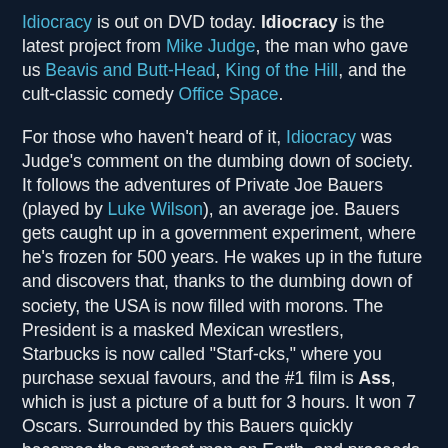Idiocracy is out on DVD today. Idiocracy is the latest project from Mike Judge, the man who gave us Beavis and Butt-Head, King of the Hill, and the cult-classic comedy Office Space.
For those who haven't heard of it, Idiocracy was Judge's comment on the dumbing down of society. It follows the adventures of Private Joe Bauers (played by Luke Wilson), an average joe. Bauers gets caught up in a government experiment, where he's frozen for 500 years. He wakes up in the future and discovers that, thanks to the dumbing down of society, the USA is now filled with morons. The President is a masked Mexican wrestlers, Starbucks is now called "Starf-cks," where you purchase sexual favours, and the #1 film is Ass, which is just a picture of a butt for 3 hours. It won 7 Oscars. Surrounded by this Bauers quickly becomes the smartest man on Earth, and proceeds to find a way back to the past.
Well, what can I say? In test screenings, the film was so offbeat, that no one knew what to make of it. It sat on the shelf for 2 years. It finally got a very limited theatrical release